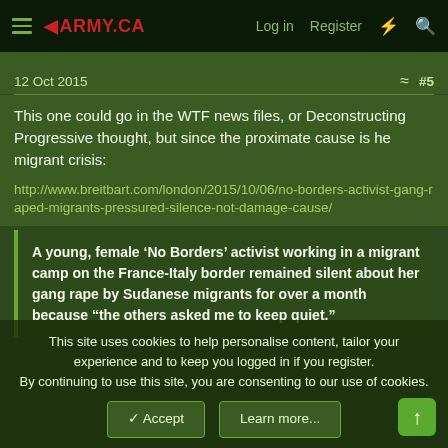ARMY.CA — Log in  Register
12 Oct 2015  #5
This one could go in the WTF news files, or Deconstructing Progressive thought, but since the proximate cause is he migrant crisis:
http://www.breitbart.com/london/2015/10/06/no-borders-activist-gang-raped-migrants-pressured-silence-not-damage-cause/
A young, female ‘No Borders’ activist working in a migrant camp on the France-Italy border remained silent about her gang rape by Sudanese migrants for over a month because “the others asked me to keep quiet.”
This site uses cookies to help personalise content, tailor your experience and to keep you logged in if you register.
By continuing to use this site, you are consenting to our use of cookies.